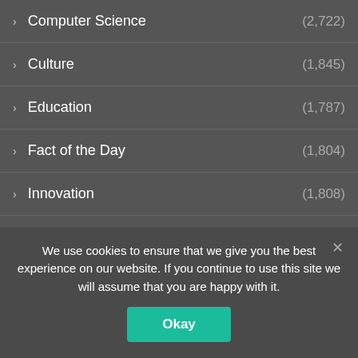Computer Science (2,722)
Culture (1,845)
Education (1,787)
Fact of the Day (1,804)
Innovation (1,808)
Library (4,139)
Literature (2,347)
Music (4,405)
News (32)
Review Book (1,767)
Schools & Teachers (2,726)
We use cookies to ensure that we give you the best experience on our website. If you continue to use this site we will assume that you are happy with it.